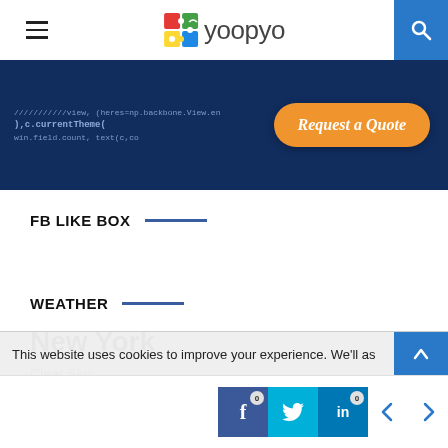yoopyo
[Figure (screenshot): Dark blue code editor background with orange 'Request a Quote' button overlay]
FB LIKE BOX
WEATHER
New York
Clear Sky
This website uses cookies to improve your experience. We'll as